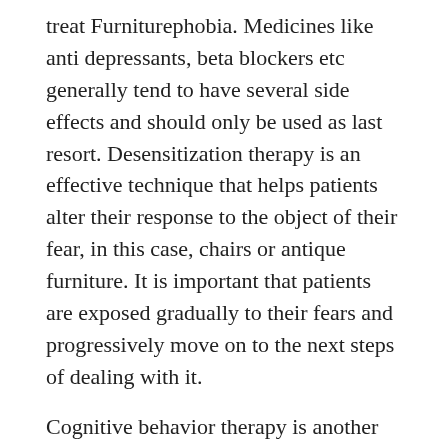treat Furniturephobia. Medicines like anti depressants, beta blockers etc generally tend to have several side effects and should only be used as last resort. Desensitization therapy is an effective technique that helps patients alter their response to the object of their fear, in this case, chairs or antique furniture. It is important that patients are exposed gradually to their fears and progressively move on to the next steps of dealing with it.
Cognitive behavior therapy is another way of dealing with the fear of furniture phobia. In this, sufferers learn different ways of perceiving the root of their fears and also ways of condition altering their response to it. These are some